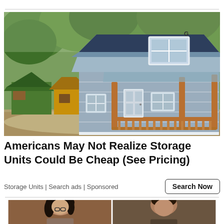[Figure (photo): Photo of a small prefab storage unit building with gray siding, dark blue gambrel roof, wooden porch with railings and posts, set among trees. Other smaller colored shed structures visible in the background.]
Americans May Not Realize Storage Units Could Be Cheap (See Pricing)
Storage Units | Search ads | Sponsored
[Figure (photo): Bottom portion of a photo showing two people, a woman with dark hair on the left and a man on the right, partial crop.]